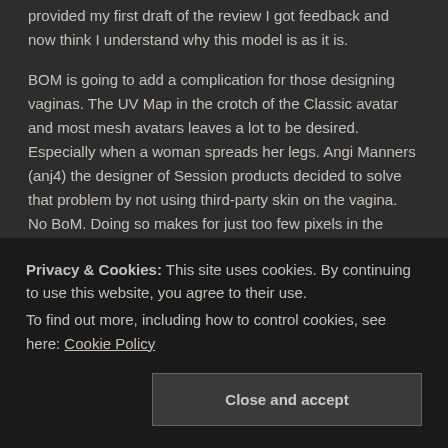provided my first draft of the review I got feedback and now think I understand why this model is as it is.
BOM is going to add a complication for those designing vaginas. The UV Map in the crotch of the Classic avatar and most mesh avatars leaves a lot to be desired. Especially when a woman spreads her legs. Angi Manners (anj4) the designer of Session products decided to solve that problem by not using third-party skin on the vagina. No BoM. Doing so makes for just too few pixels in the area. Instead, she chose to use a custom Hi-Rez 1024×1024 texture and materials with a custom UV Map. Otherwise, this part of the avatar would be very low-rez… basically fuzzy and not in a good way. Continue reading →
Privacy & Cookies: This site uses cookies. By continuing to use this website, you agree to their use.
To find out more, including how to control cookies, see here: Cookie Policy
Close and accept